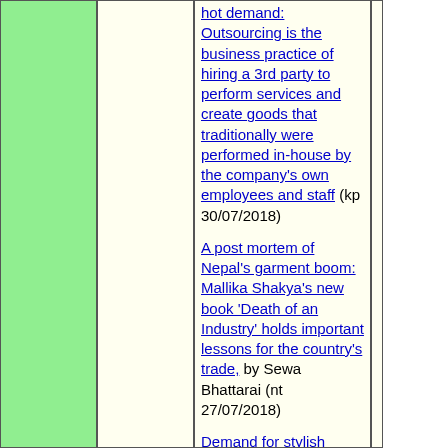hot demand: Outsourcing is the business practice of hiring a 3rd party to perform services and create goods that traditionally were performed in-house by the company's own employees and staff (kp 30/07/2018)
A post mortem of Nepal's garment boom: Mallika Shakya's new book 'Death of an Industry' holds important lessons for the country's trade, by Sewa Bhattarai (nt 27/07/2018)
Demand for stylish clothes on the rise (kp 23/07/2018)
The SEZ blues: Policy gaps in employment and dispute resolution mechanisms in SEZ Act and Labor Act could lead to a difficult situation for workers in Nepal, by Saurabh Shah (rep 22/07/2018)